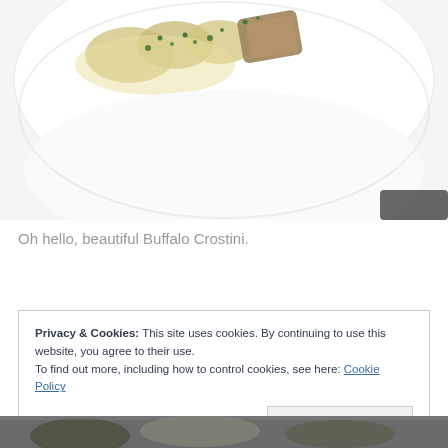[Figure (photo): Close-up photo of Buffalo Crostini on a white plate — scallop-shaped food items with green herb garnish visible at the top of a white bowl/plate, viewed from above. The bottom half of the image shows the plain white interior of the plate.]
Oh hello, beautiful Buffalo Crostini.
Privacy & Cookies: This site uses cookies. By continuing to use this website, you agree to their use.
To find out more, including how to control cookies, see here: Cookie Policy
[Close and accept]
[Figure (photo): Partial view of another food photograph at the bottom of the page, cut off.]